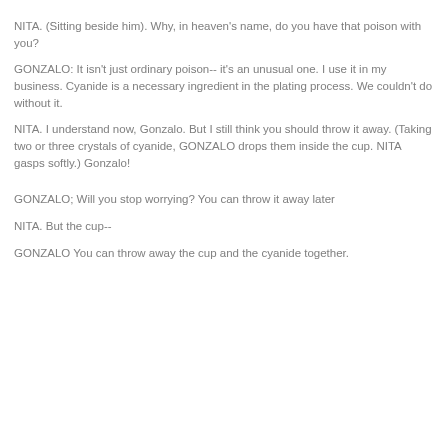NITA. (Sitting beside him). Why, in heaven's name, do you have that poison with you?
GONZALO: It isn't just ordinary poison-- it's an unusual one. I use it in my business. Cyanide is a necessary ingredient in the plating process. We couldn't do without it.
NITA. I understand now, Gonzalo. But I still think you should throw it away. (Taking two or three crystals of cyanide, GONZALO drops them inside the cup. NITA gasps softly.) Gonzalo!
GONZALO; Will you stop worrying? You can throw it away later
NITA. But the cup--
GONZALO You can throw away the cup and the cyanide together.